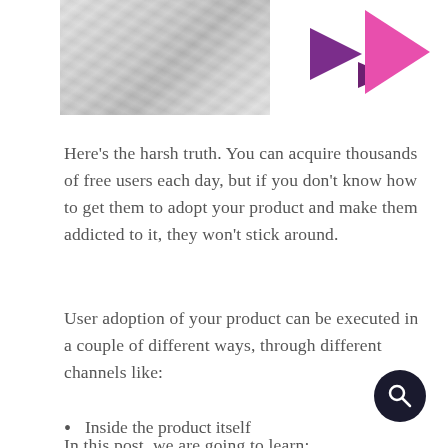[Figure (photo): Crumpled white paper texture image in the top-left area]
[Figure (logo): Three pink/purple triangles pointing right, arranged as a logo in the top-right corner]
Here's the harsh truth. You can acquire thousands of free users each day, but if you don't know how to get them to adopt your product and make them addicted to it, they won't stick around.
User adoption of your product can be executed in a couple of different ways, through different channels like:
Inside the product itself
On external platforms, like Facebook
In this post, we are going to learn: